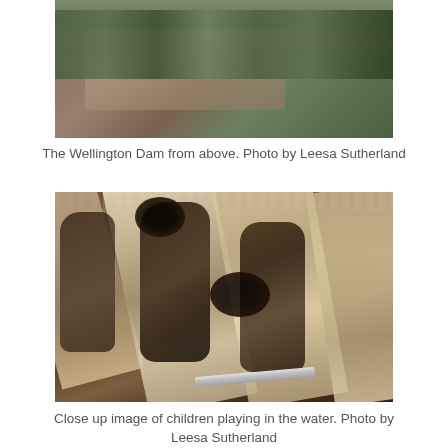[Figure (photo): Aerial view of the Wellington Dam from above, showing rocky terrain and trees surrounding the dam structure]
The Wellington Dam from above. Photo by Leesa Sutherland
[Figure (photo): Close up image of a large mural on the Wellington Dam wall showing children playing in the water, with diagonal painted panels depicting human figures]
Close up image of children playing in the water. Photo by Leesa Sutherland